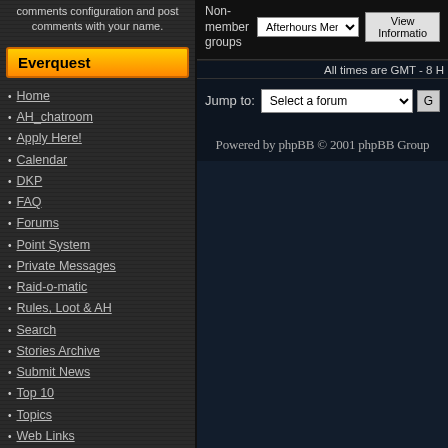comments configuration and post comments with your name.
Everquest
Home
AH_chatroom
Apply Here!
Calendar
DKP
FAQ
Forums
Point System
Private Messages
Raid-o-matic
Rules, Loot & AH
Search
Stories Archive
Submit News
Top 10
Topics
Web Links
Your Account
Who's Online
Welcome,
Non-member groups
Afterhours Member
View Information
All times are GMT - 8 H
Jump to:
Select a forum
Powered by phpBB © 2001 phpBB Group